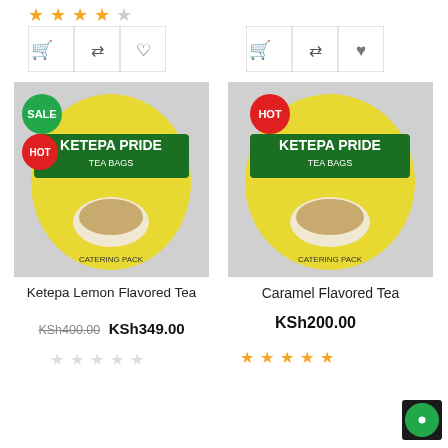[Figure (screenshot): Star rating 3.5/5 for left product at top]
[Figure (screenshot): Action buttons group (cart, compare, wishlist) for left product]
[Figure (screenshot): Action buttons group (cart, compare, wishlist) for right product]
[Figure (photo): Ketepa Pride Tea Bags Catering Pack product image with SALE and HOT badges]
Ketepa Lemon Flavored Tea
KSh400.00  KSh349.00
[Figure (photo): Ketepa Pride Tea Bags Catering Pack product image with HOT badge]
Caramel Flavored Tea
KSh200.00